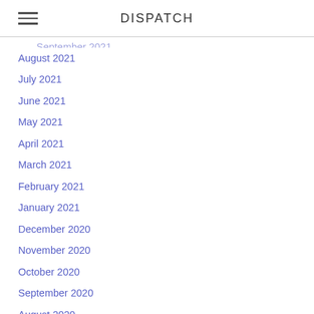DISPATCH
September 2021
August 2021
July 2021
June 2021
May 2021
April 2021
March 2021
February 2021
January 2021
December 2020
November 2020
October 2020
September 2020
August 2020
July 2020
June 2020
May 2020
April 2020